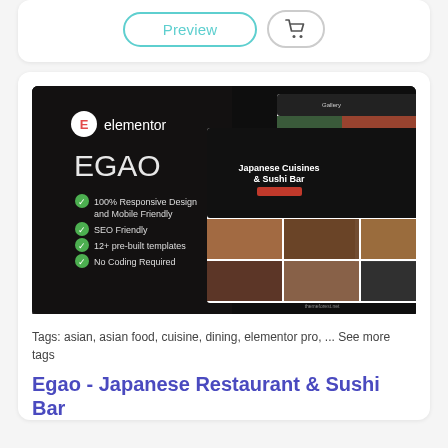[Figure (screenshot): Preview button and cart button UI controls on white card]
[Figure (screenshot): Egao Japanese Restaurant & Sushi Bar Elementor WordPress theme screenshot showing website preview with dark background, elementor logo, EGAO branding, feature list with checkmarks (100% Responsive Design and Mobile Friendly, SEO Friendly, 12+ pre-built templates, No Coding Required), and multiple webpage screenshots showing Japanese cuisine and sushi imagery]
Tags: asian, asian food, cuisine, dining, elementor pro, ... See more tags
Egao - Japanese Restaurant & Sushi Bar